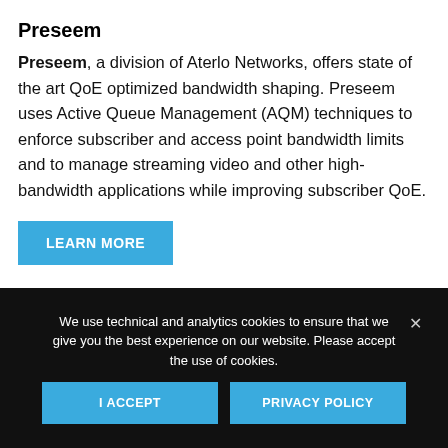Preseem
Preseem, a division of Aterlo Networks, offers state of the art QoE optimized bandwidth shaping. Preseem uses Active Queue Management (AQM) techniques to enforce subscriber and access point bandwidth limits and to manage streaming video and other high-bandwidth applications while improving subscriber QoE.
LEARN MORE
We use technical and analytics cookies to ensure that we give you the best experience on our website. Please accept the use of cookies.
I ACCEPT
PRIVACY POLICY